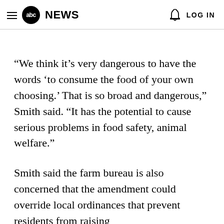abc NEWS  LOG IN
“We think it’s very dangerous to have the words ‘to consume the food of your own choosing.’ That is so broad and dangerous,” Smith said. “It has the potential to cause serious problems in food safety, animal welfare.”
Smith said the farm bureau is also concerned that the amendment could override local ordinances that prevent residents from raising